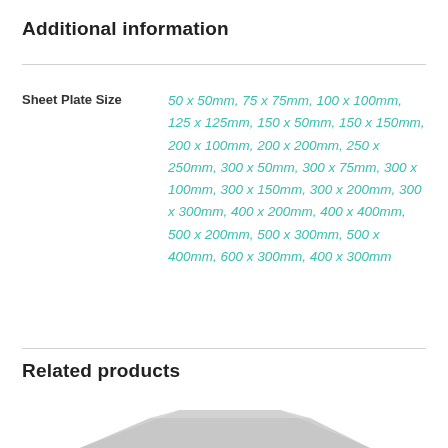Additional information
|  | Sheet Plate Size |
| --- | --- |
| Sheet Plate Size | 50 x 50mm, 75 x 75mm, 100 x 100mm, 125 x 125mm, 150 x 50mm, 150 x 150mm, 200 x 100mm, 200 x 200mm, 250 x 250mm, 300 x 50mm, 300 x 75mm, 300 x 100mm, 300 x 150mm, 300 x 200mm, 300 x 300mm, 400 x 200mm, 400 x 400mm, 500 x 200mm, 500 x 300mm, 500 x 400mm, 600 x 300mm, 400 x 300mm |
Related products
[Figure (photo): Partial view of a metallic sheet plate product, shown at the bottom of the page.]